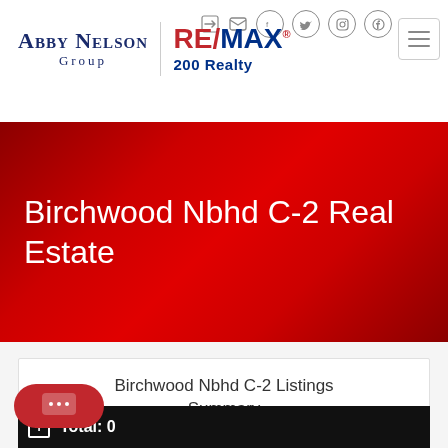[Figure (logo): Abby Nelson Group RE/MAX 200 Realty logo with navigation icons and hamburger menu]
Birchwood Nbhd C-2 Real Estate
Birchwood Nbhd C-2 Listings Summary
Total: 0